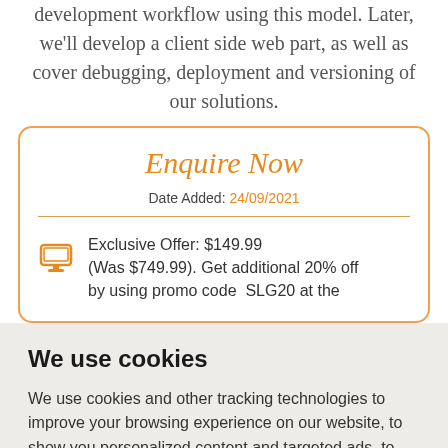development workflow using this model. Later, we'll develop a client side web part, as well as cover debugging, deployment and versioning of our solutions.
Enquire Now
Date Added: 24/09/2021
Exclusive Offer: $149.99 (Was $749.99). Get additional 20% off by using promo code SLG20 at the
We use cookies
We use cookies and other tracking technologies to improve your browsing experience on our website, to show you personalized content and targeted ads, to analyze our website traffic, and